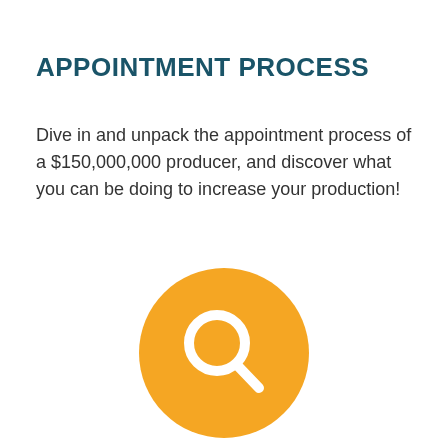APPOINTMENT PROCESS
Dive in and unpack the appointment process of a $150,000,000 producer, and discover what you can be doing to increase your production!
[Figure (illustration): Orange circle with a white magnifying glass icon centered inside it]